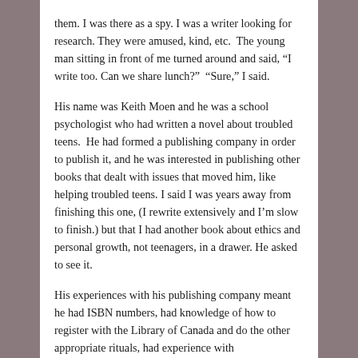them. I was there as a spy. I was a writer looking for research. They were amused, kind, etc. The young man sitting in front of me turned around and said, “I write too. Can we share lunch?” “Sure,” I said.
His name was Keith Moen and he was a school psychologist who had written a novel about troubled teens. He had formed a publishing company in order to publish it, and he was interested in publishing other books that dealt with issues that moved him, like helping troubled teens. I said I was years away from finishing this one, (I rewrite extensively and I’m slow to finish.) but that I had another book about ethics and personal growth, not teenagers, in a drawer. He asked to see it.
His experiences with his publishing company meant he had ISBN numbers, had knowledge of how to register with the Library of Canada and do the other appropriate rituals, had experience with commissioning printers. No big bankroll. No